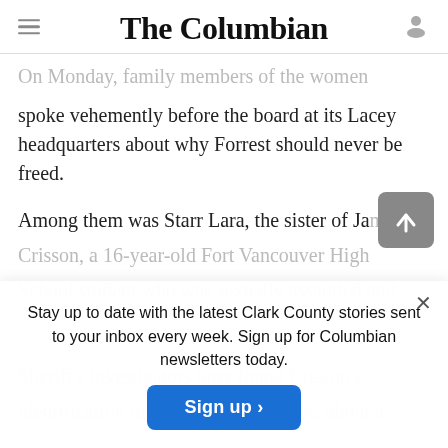The Columbian
On Monday, family members of the women spoke vehemently before the board at its Lacey headquarters about why Forrest should never be freed.
Among them was Starr Lara, the sister of Jamie Crisson, a 16-year-old Fort Vancouver High School student who was sexually assaulted and killed. Sheriff's investigators later found Crisson's identification in remote Yacolt Valley, about a
Stay up to date with the latest Clark County stories sent to your inbox every week. Sign up for Columbian newsletters today.